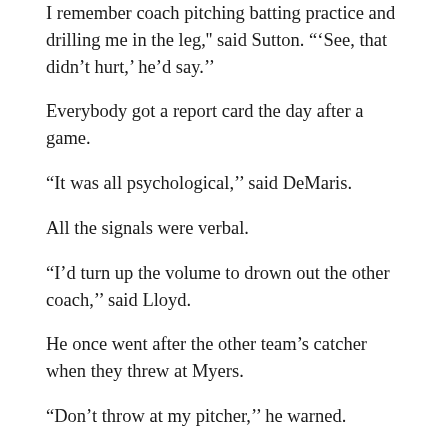I remember coach pitching batting practice and drilling me in the leg,'' said Sutton. "'See, that didn't hurt,' he'd say.''
Everybody got a report card the day after a game.
“It was all psychological,'' said DeMaris.
All the signals were verbal.
“I’d turn up the volume to drown out the other coach,'' said Lloyd.
He once went after the other team’s catcher when they threw at Myers.
“Don’t throw at my pitcher,'' he warned.
“Nobody gave Salem a chance, so we wanted to show them,” said Myers, who threw a no-hitter in the home opener that year.
Dale Donelson got his foot caught under the fence at Woodstown and went on to be mayor of Lower Alloways